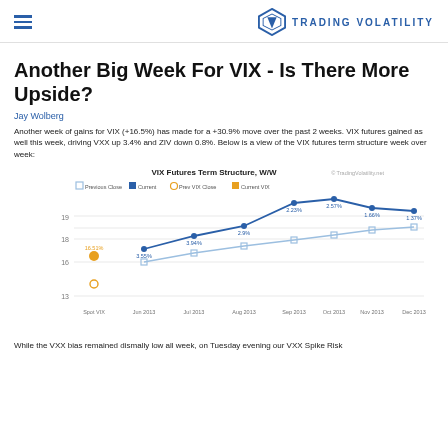TRADING VOLATILITY
Another Big Week For VIX - Is There More Upside?
Jay Wolberg
Another week of gains for VIX (+16.5%) has made for a +30.9% move over the past 2 weeks. VIX futures gained as well this week, driving VXX up 3.4% and ZIV down 0.8%. Below is a view of the VIX futures term structure week over week:
[Figure (line-chart): VIX Futures Term Structure, W/W]
While the VXX bias remained dismally low all week, on Tuesday evening our VXX Spike Risk